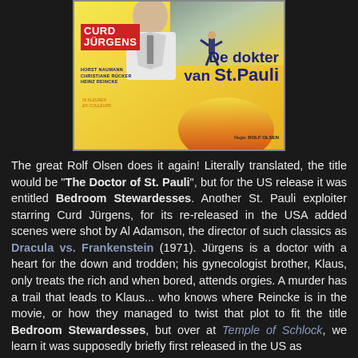[Figure (photo): Movie poster for 'De dokter van St. Pauli' (The Doctor of St. Pauli) featuring Curd Jürgens. The poster has a yellow/orange background with action figures. Credits include Horst Naumann, Christiane Rücker, Heinz Reincke. Director: Rolf Olsen.]
The great Rolf Olsen does it again! Literally translated, the title would be "The Doctor of St. Pauli", but for the US release it was entitled Bedroom Stewardesses. Another St. Pauli exploiter starring Curd Jürgens, for its re-released in the USA added scenes were shot by Al Adamson, the director of such classics as Dracula vs. Frankenstein (1971). Jürgens is a doctor with a heart for the down and trodden; his gynecologist brother, Klaus, only treats the rich and when bored, attends orgies. A murder has a trail that leads to Klaus... who knows where Reincke is in the movie, or how they managed to twist that plot to fit the title Bedroom Stewardesses, but over at Temple of Schlock, we learn it was supposedly briefly first released in the US as